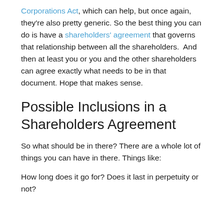Corporations Act, which can help, but once again, they're also pretty generic. So the best thing you can do is have a shareholders' agreement that governs that relationship between all the shareholders.  And then at least you or you and the other shareholders can agree exactly what needs to be in that document. Hope that makes sense.
Possible Inclusions in a Shareholders Agreement
So what should be in there? There are a whole lot of things you can have in there. Things like:
How long does it go for? Does it last in perpetuity or not?